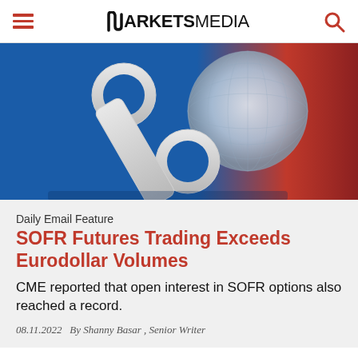MARKETSMEDIA
[Figure (photo): 3D white percent sign on a reflective surface with blue and red background and a globe shape]
Daily Email Feature
SOFR Futures Trading Exceeds Eurodollar Volumes
CME reported that open interest in SOFR options also reached a record.
08.11.2022   By Shanny Basar , Senior Writer